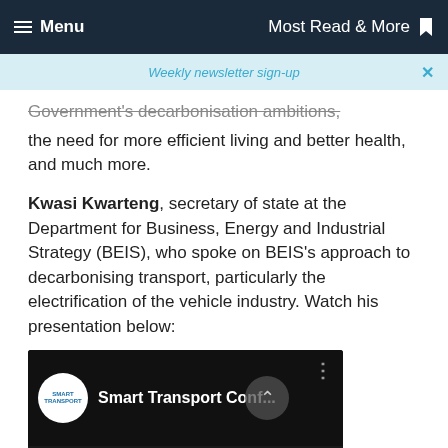Menu   Most Read & More
Weekly newsletter sign-up
Government's decarbonisation ambitions, the need for more efficient living and better health, and much more.
Kwasi Kwarteng, secretary of state at the Department for Business, Energy and Industrial Strategy (BEIS), who spoke on BEIS's approach to decarbonising transport, particularly the electrification of the vehicle industry. Watch his presentation below:
[Figure (screenshot): Video thumbnail for Smart Transport Conference showing sponsor logos including ABB, BAE, FedEx and others at the bottom.]